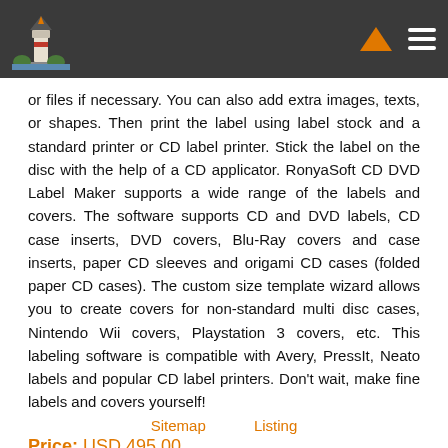[Figure (logo): Lighthouse logo on dark header bar with orange chevron/caret icon and hamburger menu icon]
or files if necessary. You can also add extra images, texts, or shapes. Then print the label using label stock and a standard printer or CD label printer. Stick the label on the disc with the help of a CD applicator. RonyaSoft CD DVD Label Maker supports a wide range of the labels and covers. The software supports CD and DVD labels, CD case inserts, DVD covers, Blu-Ray covers and case inserts, paper CD sleeves and origami CD cases (folded paper CD cases). The custom size template wizard allows you to create covers for non-standard multi disc cases, Nintendo Wii covers, Playstation 3 covers, etc. This labeling software is compatible with Avery, PressIt, Neato labels and popular CD label printers. Don't wait, make fine labels and covers yourself!
Price: USD 495.00
Sitemap    Listing